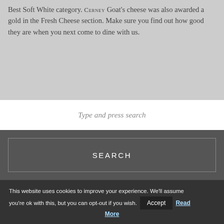Best Soft White category. CERNEY Goat's cheese was also awarded a gold in the Fresh Cheese section. Make sure you find out how good they are when you next come to dine with us.
Type and press search
SEARCH
This website uses cookies to improve your experience. We'll assume you're ok with this, but you can opt-out if you wish. Accept Read More